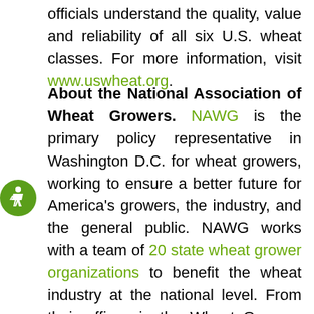officials understand the quality, value and reliability of all six U.S. wheat classes. For more information, visit www.uswheat.org.
About the National Association of Wheat Growers. NAWG is the primary policy representative in Washington D.C. for wheat growers, working to ensure a better future for America's growers, the industry, and the general public. NAWG works with a team of 20 state wheat grower organizations to benefit the wheat industry at the national level. From their offices in the Wheat Growers Building on Capitol Hill, NAWG's staff members are in constant contact with state association representatives